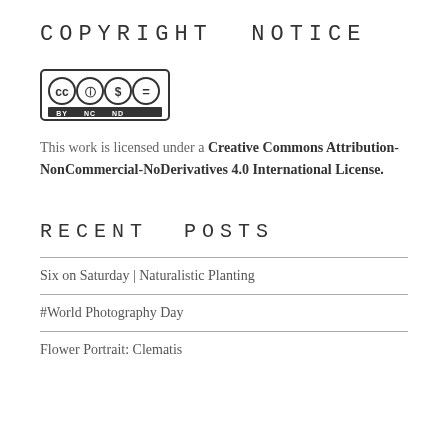COPYRIGHT NOTICE
[Figure (logo): Creative Commons CC BY NC ND license badge with icons for CC, Attribution (BY), NonCommercial (NC), and NoDerivatives (ND)]
This work is licensed under a Creative Commons Attribution-NonCommercial-NoDerivatives 4.0 International License.
RECENT POSTS
Six on Saturday | Naturalistic Planting
#World Photography Day
Flower Portrait: Clematis